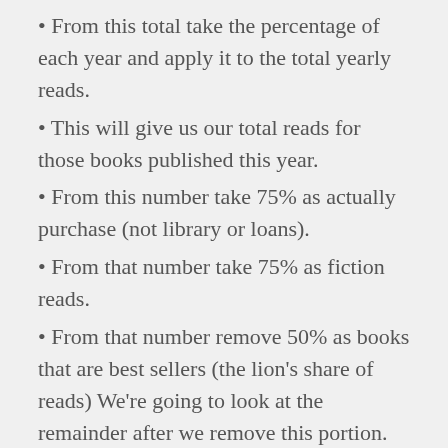From this total take the percentage of each year and apply it to the total yearly reads.
This will give us our total reads for those books published this year.
From this number take 75% as actually purchase (not library or loans).
From that number take 75% as fiction reads.
From that number remove 50% as books that are best sellers (the lion's share of reads) We're going to look at the remainder after we remove this portion.